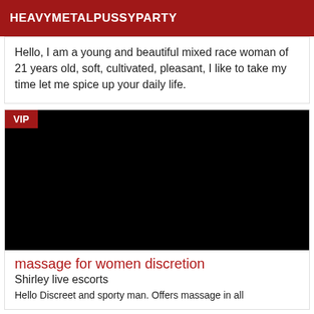HEAVYMETALPUSSYPARTY
Hello, I am a young and beautiful mixed race woman of 21 years old, soft, cultivated, pleasant, I like to take my time let me spice up your daily life.
[Figure (photo): Black listing card image with VIP badge in top-left corner]
massage for women discretion
Shirley live escorts
Hello Discreet and sporty man. Offers massage in all